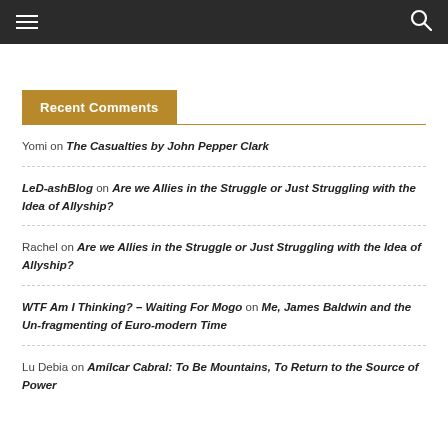≡ [menu] [search]
Recent Comments
Yomi on The Casualties by John Pepper Clark
LeD-ashBlog on Are we Allies in the Struggle or Just Struggling with the Idea of Allyship?
Rachel on Are we Allies in the Struggle or Just Struggling with the Idea of Allyship?
WTF Am I Thinking? – Waiting For Mogo on Me, James Baldwin and the Un-fragmenting of Euro-modern Time
Lu Debia on Amílcar Cabral: To Be Mountains, To Return to the Source of Power